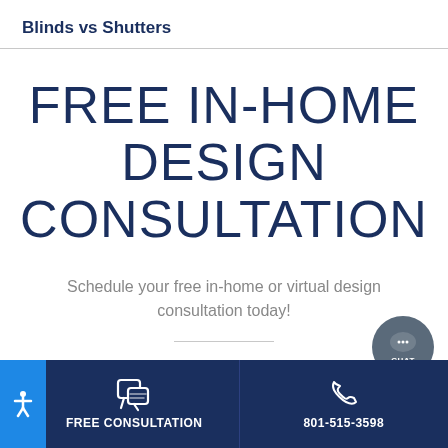Blinds vs Shutters
FREE IN-HOME DESIGN CONSULTATION
Schedule your free in-home or virtual design consultation today!
FREE CONSULTATION  801-515-3598  CHAT